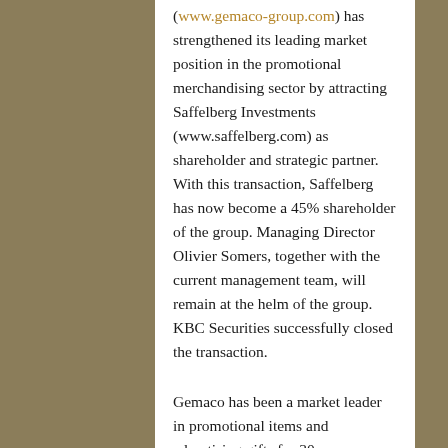(www.gemaco-group.com) has strengthened its leading market position in the promotional merchandising sector by attracting Saffelberg Investments (www.saffelberg.com) as shareholder and strategic partner. With this transaction, Saffelberg has now become a 45% shareholder of the group. Managing Director Olivier Somers, together with the current management team, will remain at the helm of the group. KBC Securities successfully closed the transaction.
Gemaco has been a market leader in promotional items and advertising gifts for 30 years.
The group manages the value chain